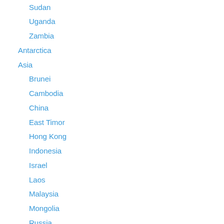Sudan
Uganda
Zambia
Antarctica
Asia
Brunei
Cambodia
China
East Timor
Hong Kong
Indonesia
Israel
Laos
Malaysia
Mongolia
Russia
Singapore
South Korea
Thailand
The Philippines